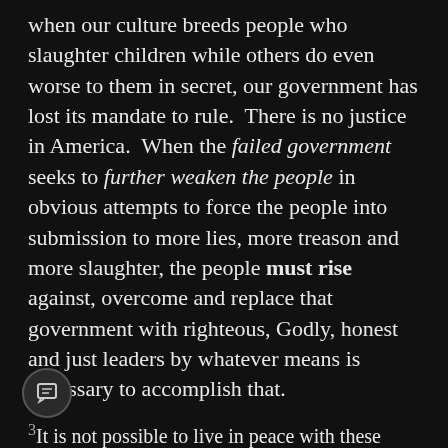when our culture breeds people who slaughter children while others do even worse to them in secret, our government has lost its mandate to rule.  There is no justice in America.  When the failed government seeks to further weaken the people in obvious attempts to force the people into submission to more lies, more treason and more slaughter, the people must rise against, overcome and replace that government with righteous, Godly, honest and just leaders by whatever means is necessary to accomplish that.
3It is not possible to live in peace with these venous wolves and an end must be made of it before they consume our very flesh.